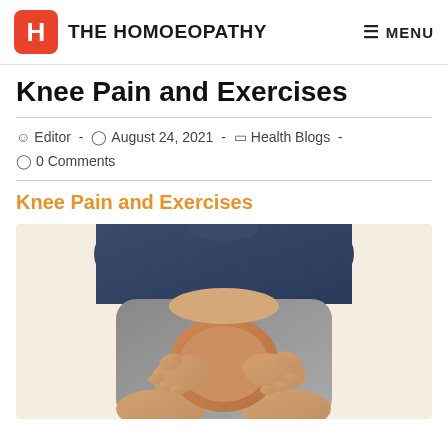THE HOMOEOPATHY  MENU
Knee Pain and Exercises
Editor · August 24, 2021 · Health Blogs · 0 Comments
Knee Pain and Exercises
[Figure (photo): A person sitting down holding their knee with both hands, wearing grey shorts and a dark blue shirt, suggesting knee pain.]